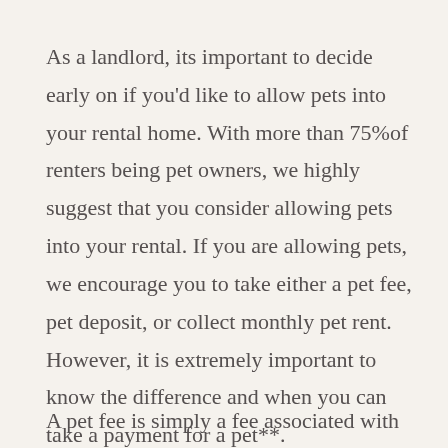As a landlord, its important to decide early on if you'd like to allow pets into your rental home. With more than 75%of renters being pet owners, we highly suggest that you consider allowing pets into your rental. If you are allowing pets, we encourage you to take either a pet fee, pet deposit, or collect monthly pet rent. However, it is extremely important to know the difference and when you can take a payment for a pet**.
A pet fee is simply a fee associated with